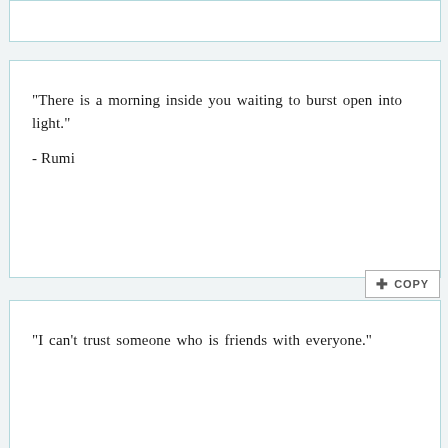[Figure (screenshot): Partial top of a quote card, cropped at top of page]
"There is a morning inside you waiting to burst open into light."
- Rumi
"I can't trust someone who is friends with everyone."